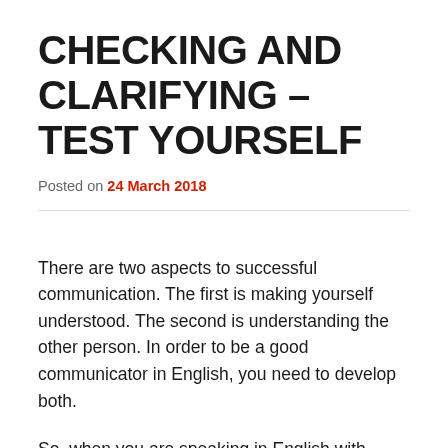CHECKING AND CLARIFYING – TEST YOURSELF
Posted on 24 March 2018
There are two aspects to successful communication. The first is making yourself understood. The second is understanding the other person. In order to be a good communicator in English, you need to develop both.
So, when you are speaking in English with somebody